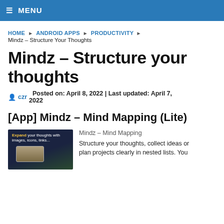≡ MENU
HOME ▸ ANDROID APPS ▸ PRODUCTIVITY ▸
Mindz – Structure Your Thoughts
Mindz – Structure your thoughts
czr   Posted on: April 8, 2022 | Last updated: April 7, 2022
[App] Mindz – Mind Mapping (Lite)
[Figure (screenshot): App screenshot showing 'Expand your thoughts with images, icons, links...' on a dark background with a phone UI]
Mindz – Mind Mapping
Structure your thoughts, collect ideas or plan projects clearly in nested lists. You